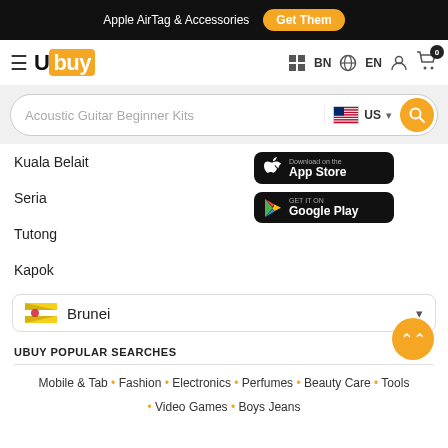Apple AirTag & Accessories  Get Them
[Figure (logo): Ubuy logo with hamburger menu, BN language selector, EN globe, user icon, cart with 0 badge]
[Figure (screenshot): Search box with text 'Acoustic Guitar Beginner Kits', US flag, search button]
Kuala Belait
[Figure (other): Download on the App Store button]
[Figure (other): Get it on Google Play button]
Seria
Tutong
Kapok
[Figure (other): Brunei country selector with flag and dropdown arrow]
UBUY POPULAR SEARCHES
Mobile & Tab • Fashion • Electronics • Perfumes • Beauty Care • Tools • Video Games • Boys Jeans